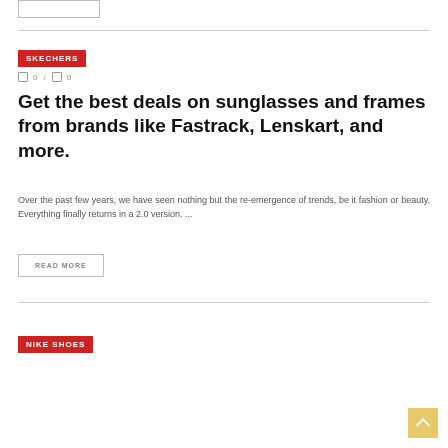SKECHERS
0 / 0
Get the best deals on sunglasses and frames from brands like Fastrack, Lenskart, and more.
Over the past few years, we have seen nothing but the re-emergence of trends, be it fashion or beauty. Everything finally returns in a 2.0 version. ...
READ MORE
NIKE SHOES